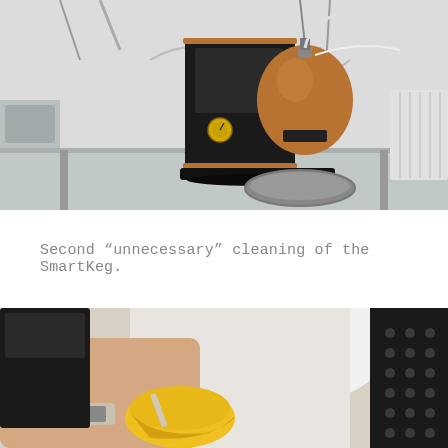[Figure (photo): A brewery or lab setup on a stainless steel bench: a black rectangular device with a copper/bronze colored round keg (SmartKeg) attached to it, with various tubes, wires, and equipment in the background.]
Second “unnecessary” cleaning of the SmartKeg.
[Figure (photo): Close-up of hands holding a yellow bowl or cap component, with a black perforated panel visible on the right, suggesting SmartKeg cleaning process.]